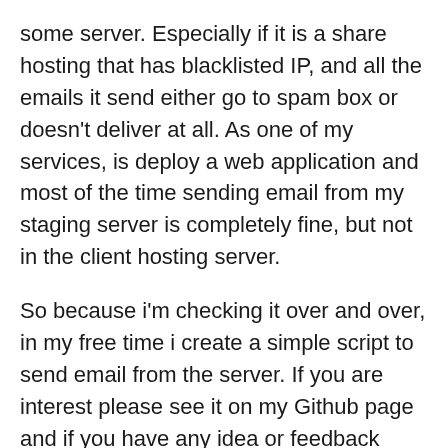some server. Especially if it is a share hosting that has blacklisted IP, and all the emails it send either go to spam box or doesn't deliver at all. As one of my services, is deploy a web application and most of the time sending email from my staging server is completely fine, but not in the client hosting server.
So because i'm checking it over and over, in my free time i create a simple script to send email from the server. If you are interest please see it on my Github page and if you have any idea or feedback please let me know. Please see the repository here: PHP Mail Tester
Installation
The installation is pretty simple, all you need is composer because i'm using PHPMailer library as